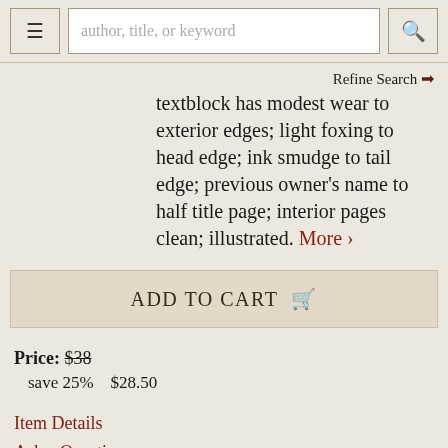author, title, or keyword | Refine Search
textblock has modest wear to exterior edges; light foxing to head edge; ink smudge to tail edge; previous owner's name to half title page; interior pages clean; illustrated. More >
ADD TO CART
Price: $38
   save 25%   $28.50
Item Details
Ask a Question
1351566
FP New Rockville Stock